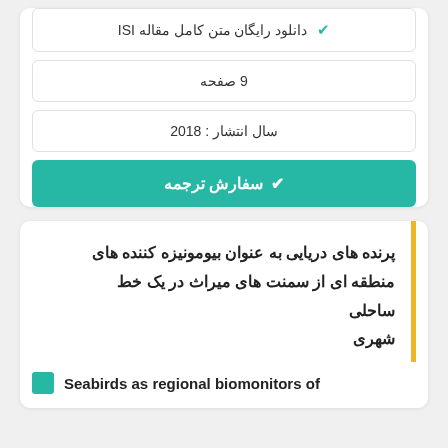✔ دانلود رایگان متن کامل مقاله ISI
9 صفحه
سال انتشار : 2018
✔ سفارش ترجمه
پرنده های دریایی به عنوان بیومونیزه کننده های منطقه ای از سمنت های میراث در یک خط ساحلی شهری
Seabirds as regional biomonitors of